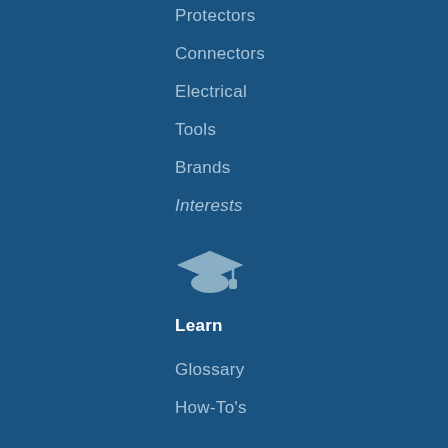Protectors
Connectors
Electrical
Tools
Brands
Interests
[Figure (illustration): Graduation cap icon in muted blue-gray color]
Learn
Glossary
How-To's